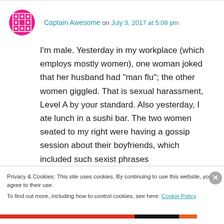Captain Awesome on July 3, 2017 at 5:08 pm
I'm male. Yesterday in my workplace (which employs mostly women), one woman joked that her husband had “man flu”; the other women giggled. That is sexual harassment, Level A by your standard. Also yesterday, I ate lunch in a sushi bar. The two women seated to my right were having a gossip session about their boyfriends, which included such sexist phrases
Privacy & Cookies: This site uses cookies. By continuing to use this website, you agree to their use.
To find out more, including how to control cookies, see here: Cookie Policy
Close and accept